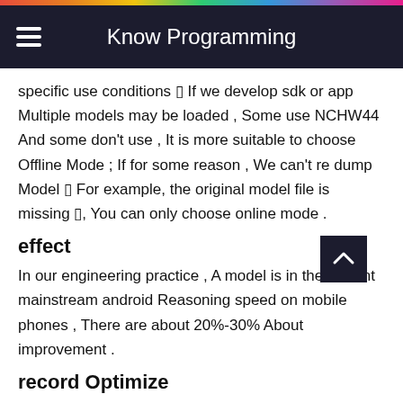Know Programming
specific use conditions ■ If we develop sdk or app Multiple models may be loaded , Some use NCHW44 And some don't use , It is more suitable to choose Offline Mode ; If for some reason , We can't re dump Model ■ For example, the original model file is missing ■, You can only choose online mode .
effect
In our engineering practice , A model is in the current mainstream android Reasoning speed on mobile phones , There are about 20%-30% About improvement .
record Optimize